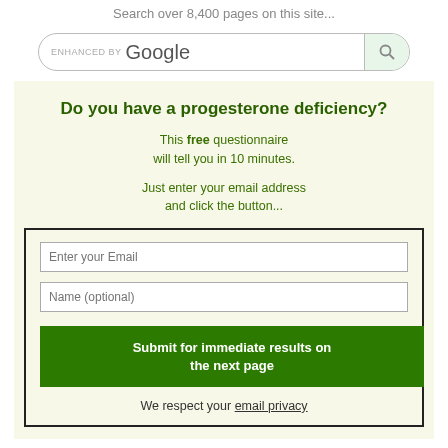Search over 8,400 pages on this site...
[Figure (screenshot): Google search bar with 'ENHANCED BY Google' text and a search icon button]
Do you have a progesterone deficiency?
This free questionnaire will tell you in 10 minutes.
Just enter your email address and click the button...
[Figure (other): Form with email input, name input, submit button, and privacy notice]
We respect your email privacy